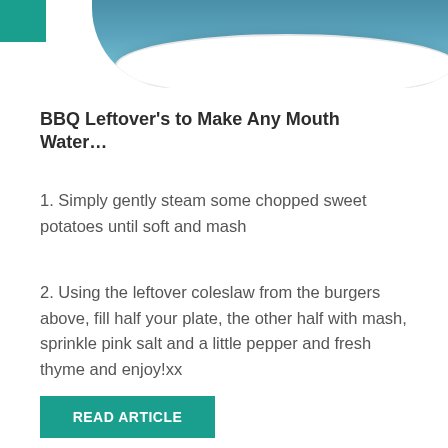[Figure (photo): Top of a white plate on a blue wooden table background, cropped to show just the rim and background]
BBQ Leftover's to Make Any Mouth Water…
1. Simply gently steam some chopped sweet potatoes until soft and mash
2. Using the leftover coleslaw from the burgers above, fill half your plate, the other half with mash, sprinkle pink salt and a little pepper and fresh thyme and enjoy!xx
READ ARTICLE